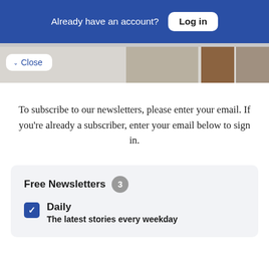Already have an account? Log in
[Figure (screenshot): Close button and partial images of interior spaces]
To subscribe to our newsletters, please enter your email. If you're already a subscriber, enter your email below to sign in.
Free Newsletters 3
Daily — The latest stories every weekday